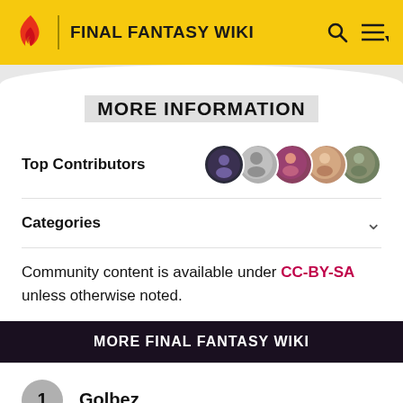FINAL FANTASY WIKI
MORE INFORMATION
Top Contributors
Categories
Community content is available under CC-BY-SA unless otherwise noted.
MORE FINAL FANTASY WIKI
1 Golbez